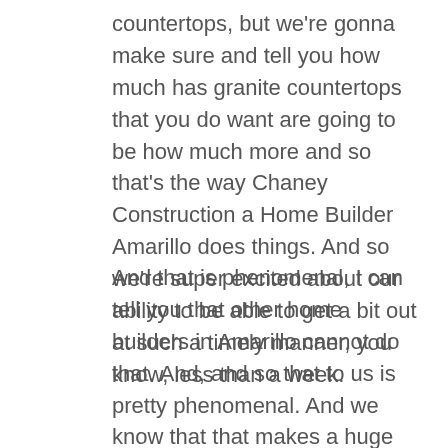countertops, but we're gonna make sure and tell you how much has granite countertops that you do want are going to be how much more and so that's the way Chaney Construction a Home Builder Amarillo does things. And so we're super excited about our ability to be able to get a bit out at such a timely manner, you know, less than a week.
And that is phenomenal, I can tell you that other home builders in Amarillo cannot do that. And, and so that to us is pretty phenomenal. And we know that that makes a huge impact on our customers and our level of trust with them. And so we just know that what we're doing is going to be always above and beyond what the